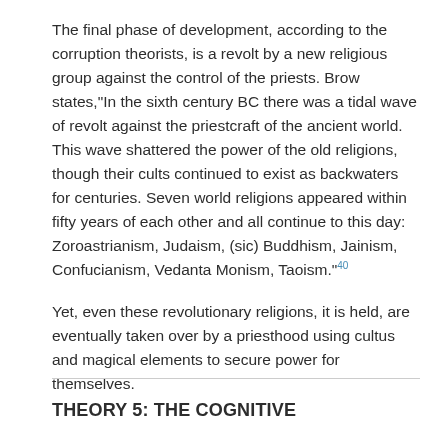The final phase of development, according to the corruption theorists, is a revolt by a new religious group against the control of the priests. Brow states,"In the sixth century BC there was a tidal wave of revolt against the priestcraft of the ancient world. This wave shattered the power of the old religions, though their cults continued to exist as backwaters for centuries. Seven world religions appeared within fifty years of each other and all continue to this day: Zoroastrianism, Judaism, (sic) Buddhism, Jainism, Confucianism, Vedanta Monism, Taoism."40
Yet, even these revolutionary religions, it is held, are eventually taken over by a priesthood using cultus and magical elements to secure power for themselves.
THEORY 5: THE COGNITIVE